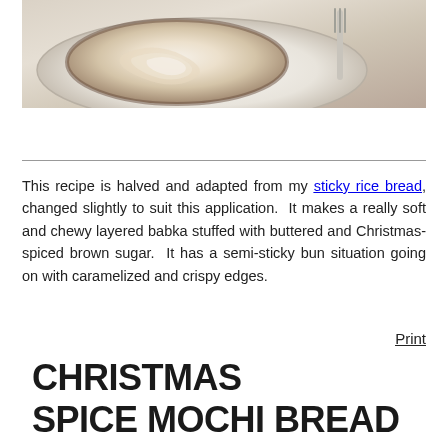[Figure (photo): Close-up photo of sliced Christmas spice mochi bread babka on a white plate with a fork visible]
This recipe is halved and adapted from my sticky rice bread, changed slightly to suit this application. It makes a really soft and chewy layered babka stuffed with buttered and Christmas-spiced brown sugar. It has a semi-sticky bun situation going on with caramelized and crispy edges.
CHRISTMAS SPICE MOCHI BREAD